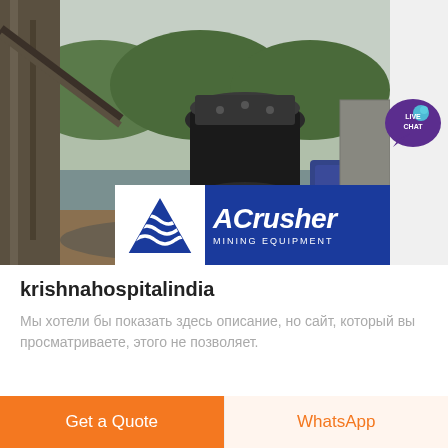[Figure (photo): Industrial mining equipment - cone crusher with steel structure, water in background, trees on hillside. ACrusher Mining Equipment logo overlay at bottom.]
krishnahospitalindia
Мы хотели бы показать здесь описание, но сайт, который вы просматриваете, этого не позволяет.
Get a Quote
WhatsApp